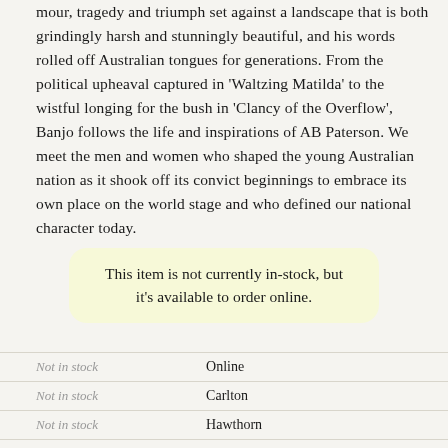mour, tragedy and triumph set against a landscape that is both grindingly harsh and stunningly beautiful, and his words rolled off Australian tongues for generations. From the political upheaval captured in 'Waltzing Matilda' to the wistful longing for the bush in 'Clancy of the Overflow', Banjo follows the life and inspirations of AB Paterson. We meet the men and women who shaped the young Australian nation as it shook off its convict beginnings to embrace its own place on the world stage and who defined our national character today.
This item is not currently in-stock, but it's available to order online.
|  |  |
| --- | --- |
| Not in stock | Online |
| Not in stock | Carlton |
| Not in stock | Hawthorn |
| Not in stock | Malvern |
| Not in stock | St Kilda |
| Not in stock | State Library |
| Not in stock | Doncaster |